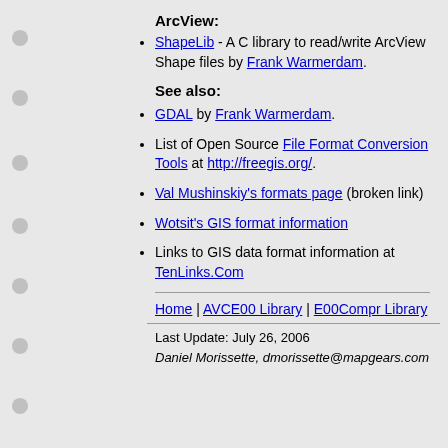ArcView:
ShapeLib - A C library to read/write ArcView Shape files by Frank Warmerdam.
See also:
GDAL by Frank Warmerdam.
List of Open Source File Format Conversion Tools at http://freegis.org/.
Val Mushinskiy's formats page (broken link)
Wotsit's GIS format information
Links to GIS data format information at TenLinks.Com
Home | AVCE00 Library | E00Compr Library
Last Update: July 26, 2006
Daniel Morissette, dmorissette@mapgears.com